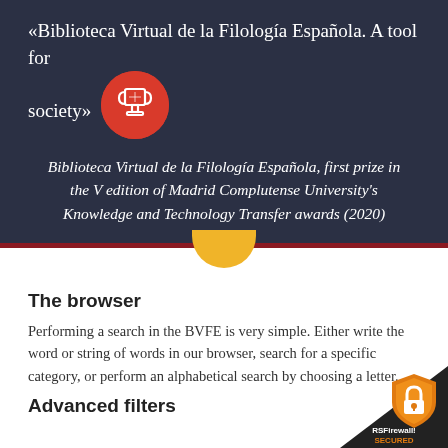«Biblioteca Virtual de la Filología Española. A tool for society»
[Figure (illustration): Red circle with white trophy icon]
Biblioteca Virtual de la Filología Española, first prize in the V edition of Madrid Complutense University's Knowledge and Technology Transfer awards (2020)
The browser
Performing a search in the BVFE is very simple. Either write the word or string of words in our browser, search for a specific category, or perform an alphabetical search by choosing a letter.
Advanced filters
[Figure (logo): RSFirewall! SECURED badge — orange shield with lock icon and text]